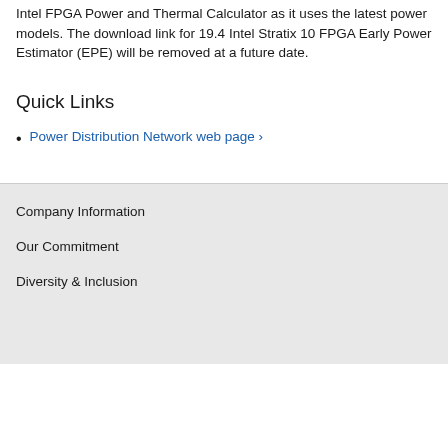Intel FPGA Power and Thermal Calculator as it uses the latest power models. The download link for 19.4 Intel Stratix 10 FPGA Early Power Estimator (EPE) will be removed at a future date.
Quick Links
Power Distribution Network web page ›
Company Information
Our Commitment
Diversity & Inclusion